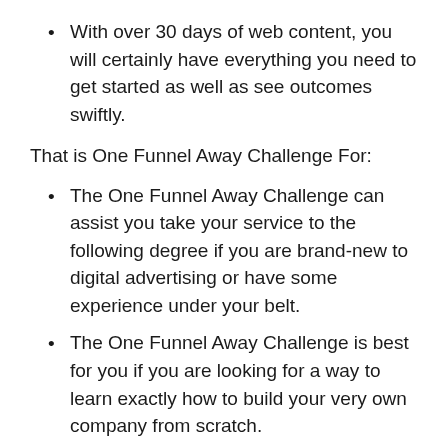With over 30 days of web content, you will certainly have everything you need to get started as well as see outcomes swiftly.
That is One Funnel Away Challenge For:
The One Funnel Away Challenge can assist you take your service to the following degree if you are brand-new to digital advertising or have some experience under your belt.
The One Funnel Away Challenge is best for you if you are looking for a way to learn exactly how to build your very own company from scratch.
This obstacle is excellent for you if you desire to take your company to the